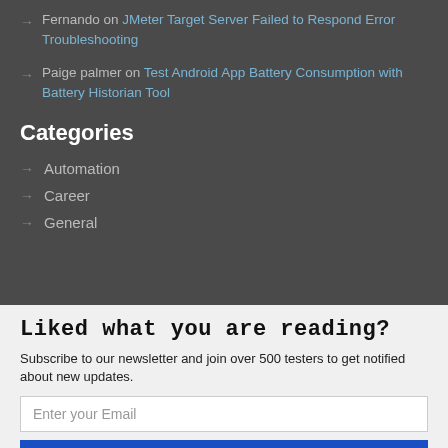Fernando on JMeter Target Server Failed to Respond Error Troubleshooting
Paige palmer on Test Android App Battery Consumption with Battery Historian Tool
Categories
Automation
Career
General
Liked what you are reading?
Subscribe to our newsletter and join over 500 testers to get notified about new updates.
Enter your Email
Subscribe Now